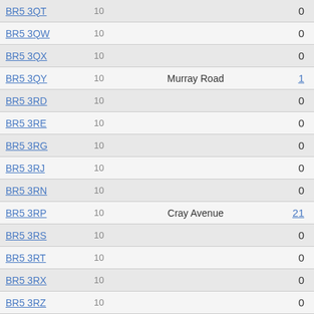| Postcode | Count | Street | Value |
| --- | --- | --- | --- |
| BR5 3QT | 10 |  | 0 |
| BR5 3QW | 10 |  | 0 |
| BR5 3QX | 10 |  | 0 |
| BR5 3QY | 10 | Murray Road | 1 |
| BR5 3RD | 10 |  | 0 |
| BR5 3RE | 10 |  | 0 |
| BR5 3RG | 10 |  | 0 |
| BR5 3RJ | 10 |  | 0 |
| BR5 3RN | 10 |  | 0 |
| BR5 3RP | 10 | Cray Avenue | 21 |
| BR5 3RS | 10 |  | 0 |
| BR5 3RT | 10 |  | 0 |
| BR5 3RX | 10 |  | 0 |
| BR5 3RZ | 10 |  | 0 |
| BR5 3SA | 10 |  | 0 |
| BR5 3SB | 10 |  | 0 |
| BR5 3SD | 10 |  | 0 |
| BR5 3SE | 10 |  | 0 |